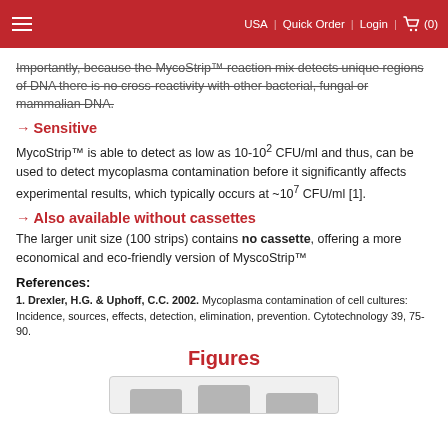USA | Quick Order | Login | (0)
Importantly, because the MycoStrip™ reaction mix detects unique regions of DNA there is no cross-reactivity with other bacterial, fungal or mammalian DNA.
→ Sensitive
MycoStrip™ is able to detect as low as 10-10² CFU/ml and thus, can be used to detect mycoplasma contamination before it significantly affects experimental results, which typically occurs at ~10⁷ CFU/ml [1].
→ Also available without cassettes
The larger unit size (100 strips) contains no cassette, offering a more economical and eco-friendly version of MyscoStrip™
References:
1. Drexler, H.G. & Uphoff, C.C. 2002. Mycoplasma contamination of cell cultures: Incidence, sources, effects, detection, elimination, prevention. Cytotechnology 39, 75-90.
Figures
[Figure (other): Partial figure showing grey bars at the bottom of the page]